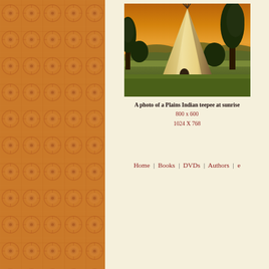[Figure (photo): Decorative orange patterned panel on the left side of the page]
[Figure (photo): A photo of a Plains Indian teepee at sunrise, with trees and a dramatic sky in the background]
A photo of a Plains Indian teepee at sunrise
800 x 600
1024 X 768
Home | Books | DVDs | Authors | e